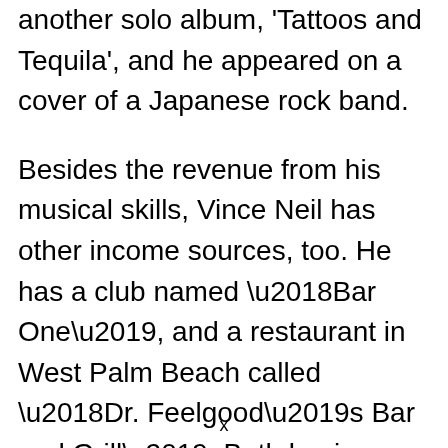another solo album, 'Tattoos and Tequila', and he appeared on a cover of a Japanese rock band.
Besides the revenue from his musical skills, Vince Neil has other income sources, too. He has a club named ‘Bar One’, and a restaurant in West Palm Beach called ‘Dr. Feelgood’s Bar and Grill’. Both businesses added significant value to Neil’s overall fortune.
Moreover, Vince Neil became chief executive and chairman of the Rock Star
x